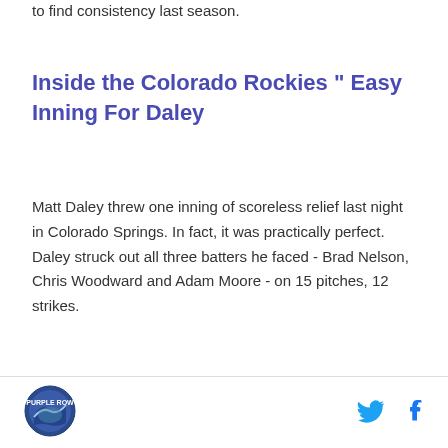to find consistency last season.
Inside the Colorado Rockies " Easy Inning For Daley
Matt Daley threw one inning of scoreless relief last night in Colorado Springs.  In fact, it was practically perfect.  Daley struck out all three batters he faced - Brad Nelson, Chris Woodward and Adam Moore - on 15 pitches, 12 strikes.
[Figure (logo): Colorado Rockies logo circle]
[Figure (other): Twitter bird icon and Facebook f icon in footer]